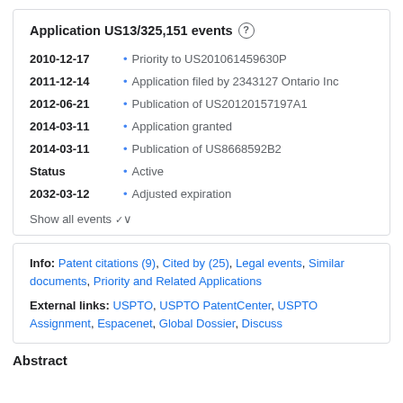Application US13/325,151 events
2010-12-17 • Priority to US201061459630P
2011-12-14 • Application filed by 2343127 Ontario Inc
2012-06-21 • Publication of US20120157197A1
2014-03-11 • Application granted
2014-03-11 • Publication of US8668592B2
Status • Active
2032-03-12 • Adjusted expiration
Show all events
Info: Patent citations (9), Cited by (25), Legal events, Similar documents, Priority and Related Applications
External links: USPTO, USPTO PatentCenter, USPTO Assignment, Espacenet, Global Dossier, Discuss
Abstract